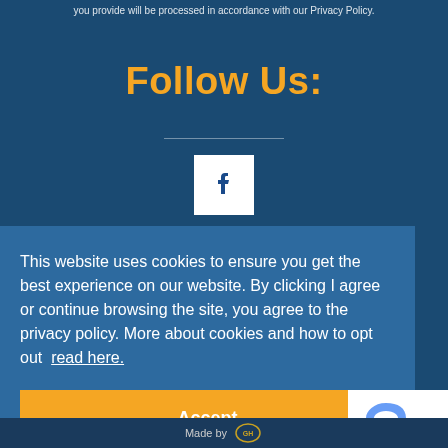you provide will be processed in accordance with our Privacy Policy.
Follow Us:
[Figure (logo): Facebook logo icon — white 'f' on white square background]
This website uses cookies to ensure you get the best experience on our website. By clicking I agree or continue browsing the site, you agree to the privacy policy. More about cookies and how to opt out read here.
Accept
[Figure (other): reCAPTCHA widget showing circular arrows logo with Privacy and Terms text]
Made by